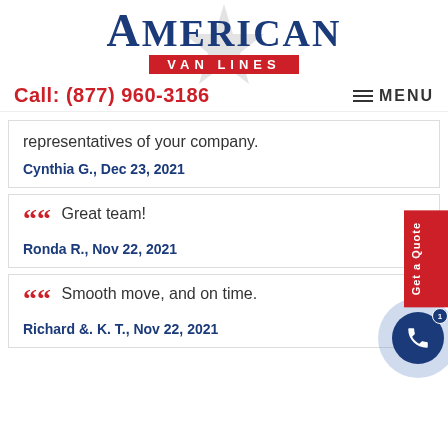[Figure (logo): American Van Lines logo with star background, blue serif text 'AMERICAN' and red banner 'VAN LINES']
Call: (877) 960-3186
≡ MENU
representatives of your company.
Cynthia G., Dec 23, 2021
Great team!
Ronda R., Nov 22, 2021
Smooth move, and on time.
Richard &. K. T., Nov 22, 2021